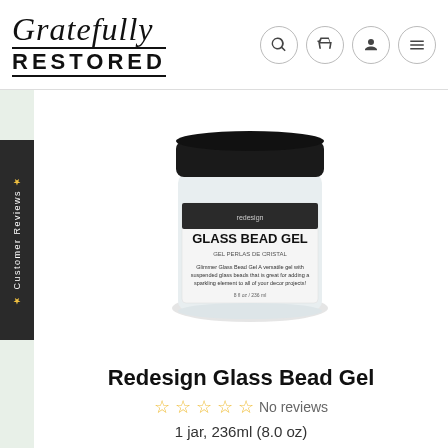[Figure (logo): Gratefully Restored logo with script 'Gratefully' and bold 'RESTORED' text]
[Figure (photo): A jar of Redesign Glass Bead Gel with black lid, white label showing product name and description, 8 fl oz / 236ml]
Redesign Glass Bead Gel
No reviews
1 jar, 236ml (8.0 oz)